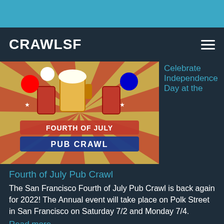CRAWLSF
[Figure (photo): Fourth of July Pub Crawl promotional banner with beer mugs, red white and blue decorations, and text reading 'FOURTH OF JULY PUB CRAWL']
Celebrate Independence Day at the
Fourth of July Pub Crawl
The San Francisco Fourth of July Pub Crawl is back again for 2022! The Annual event will take place on Polk Street in San Francisco on Saturday 7/2 and Monday 7/4.
Read more
[Figure (photo): The San Francisco Hot Dog Eating Contest promotional banner with patriotic decorations]
The San Francisco